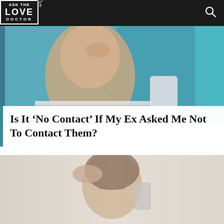ASK THE LOVE DOCTOR
[Figure (photo): Woman with eyes closed looking stressed at her phone, sitting against a teal/blue cushion background]
Is It ‘No Contact’ If My Ex Asked Me Not To Contact Them?
[Figure (photo): Woman with short dark hair, eyes closed, hand raised to head, appearing stressed while on a phone call, light background]